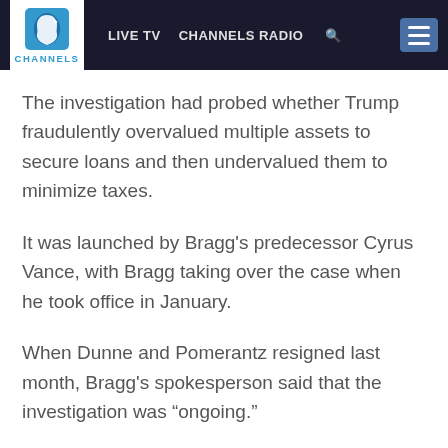CHANNELS | LIVE TV | CHANNELS RADIO
The investigation had probed whether Trump fraudulently overvalued multiple assets to secure loans and then undervalued them to minimize taxes.
It was launched by Bragg's predecessor Cyrus Vance, with Bragg taking over the case when he took office in January.
When Dunne and Pomerantz resigned last month, Bragg's spokesperson said that the investigation was “ongoing.”
The Times reported that he has told aides the